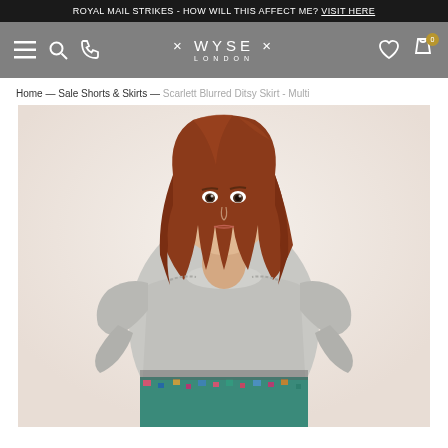ROYAL MAIL STRIKES - HOW WILL THIS AFFECT ME? VISIT HERE
[Figure (screenshot): Wyse London e-commerce website navigation bar with hamburger menu, search, phone icons on left, Wyse London logo in center, heart and cart icons on right on grey background]
Home — Sale Shorts & Skirts — Scarlett Blurred Ditsy Skirt - Multi
[Figure (photo): Female model with long auburn/red wavy hair wearing a grey ruffle-sleeve t-shirt and a colourful multi-coloured ditsy print skirt, photographed against a light cream/white background]